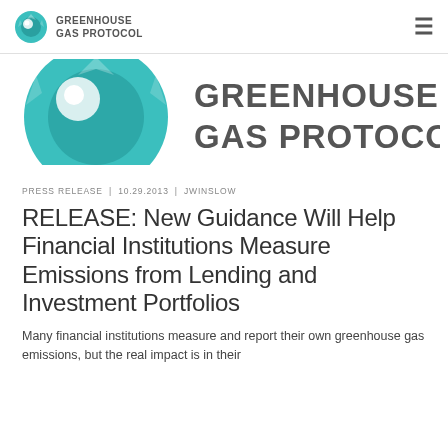GREENHOUSE GAS PROTOCOL
[Figure (logo): Greenhouse Gas Protocol logo — teal circular orb with white highlight and geometric facets, with large text 'GREENHOUSE GAS PROTOCOL' in dark gray]
PRESS RELEASE | 10.29.2013 | JWINSLOW
RELEASE: New Guidance Will Help Financial Institutions Measure Emissions from Lending and Investment Portfolios
Many financial institutions measure and report their own greenhouse gas emissions, but the real impact is in their